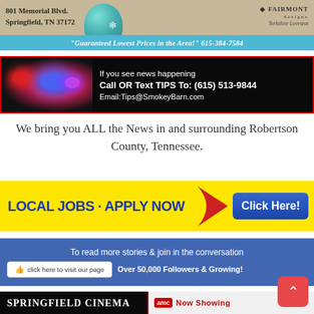[Figure (illustration): Furniture store advertisement banner with Fairmont Designs Yorkshire Loveseat, address 801 Memorial Blvd. Springfield, TN 37172, with teal ornament decoration]
"Guaranteed Lowest Prices in the Area!" 615-384-7584
[Figure (illustration): News tips banner with police lights on dark background. Text: If you see news happening Call OR Text TIPS To: (615) 513-9844 Email:Tips@SmokeyBarn.com]
We bring you ALL the News in and surrounding Robertson County, Tennessee.
[Figure (illustration): Yellow banner: LOCAL JOBS - APPLY NOW with Click Here! blue button]
[Figure (illustration): Facebook banner: To read more stories & join in the conversation. click here to visit our page. Over 50,000 Followers & Growing!]
[Figure (illustration): Springfield Cinema banner with AMC Now Showing text]